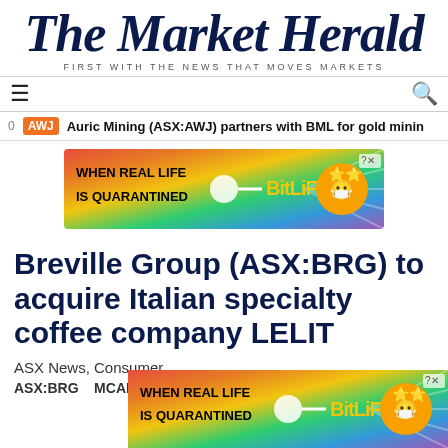The Market Herald – FIRST WITH THE NEWS THAT MOVES MARKETS
[Figure (logo): The Market Herald newspaper logo in dark navy serif italic font with tagline 'FIRST WITH THE NEWS THAT MOVES MARKETS']
[Figure (infographic): BitLife mobile game advertisement banner: colorful rainbow background with 'WHEN REAL LIFE IS QUARANTINED' text and BitLife logo with emoji characters]
Breville Group (ASX:BRG) to acquire Italian specialty coffee company LELIT
ASX News, Consumer
ASX:BRG   MCAP $000B
[Figure (infographic): BitLife mobile game advertisement banner (second instance): colorful rainbow background with 'WHEN REAL LIFE IS QUARANTINED' text and BitLife logo with emoji characters]